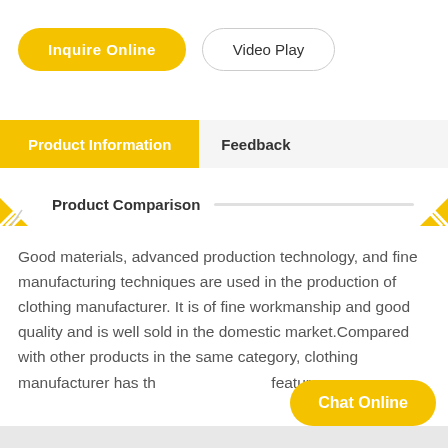Inquire Online
Video Play
Product Information
Feedback
Product Comparison
Good materials, advanced production technology, and fine manufacturing techniques are used in the production of clothing manufacturer. It is of fine workmanship and good quality and is well sold in the domestic market.Compared with other products in the same category, clothing manufacturer has the following main features.
Chat Online